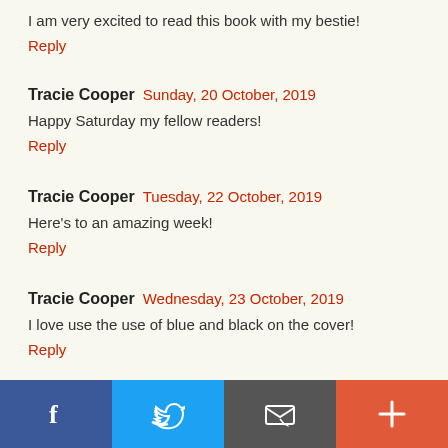I am very excited to read this book with my bestie!
Reply
Tracie Cooper  Sunday, 20 October, 2019
Happy Saturday my fellow readers!
Reply
Tracie Cooper  Tuesday, 22 October, 2019
Here's to an amazing week!
Reply
Tracie Cooper  Wednesday, 23 October, 2019
I love use the use of blue and black on the cover!
Reply
[Figure (other): Social sharing bar with Facebook, Twitter, email/envelope, and plus buttons]